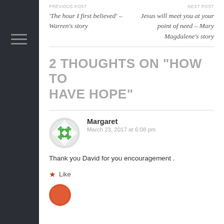PREVIOUS POST
'The hour I first believed' – Warren's story
NEXT POST
Jesus will meet you at your point of need – Mary Magdalene's story
2 THOUGHTS ON “HOW TO HAVE HOPE”
Margaret
March 23, 2017 at 6:08 pm
Thank you David for you encouragement .
Like